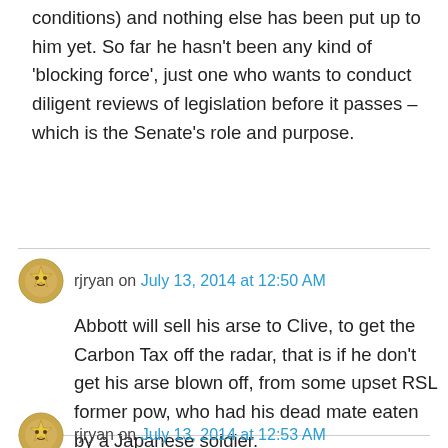conditions) and nothing else has been put up to him yet. So far he hasn't been any kind of 'blocking force', just one who wants to conduct diligent reviews of legislation before it passes – which is the Senate's role and purpose.
rjryan on July 13, 2014 at 12:50 AM
Abbott will sell his arse to Clive, to get the Carbon Tax off the radar, that is if he don't get his arse blown off, from some upset RSL former pow, who had his dead mate eaten by a Japanese soldier.
rjryan on July 13, 2014 at 12:53 AM